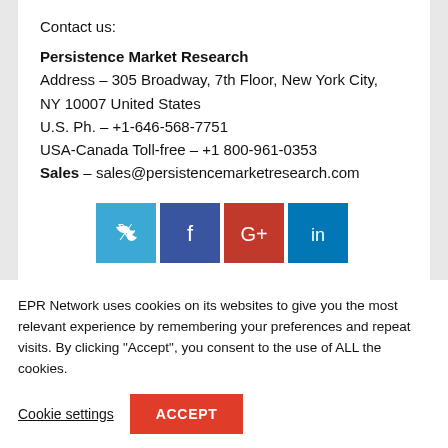Contact us:
Persistence Market Research
Address – 305 Broadway, 7th Floor, New York City, NY 10007 United States
U.S. Ph. – +1-646-568-7751
USA-Canada Toll-free – +1 800-961-0353
Sales – sales@persistencemarketresearch.com
[Figure (infographic): Social media icons: Twitter (blue), Facebook (dark blue), Google+ (red), LinkedIn (light blue)]
EPR Network uses cookies on its websites to give you the most relevant experience by remembering your preferences and repeat visits. By clicking "Accept", you consent to the use of ALL the cookies.
Cookie settings
ACCEPT